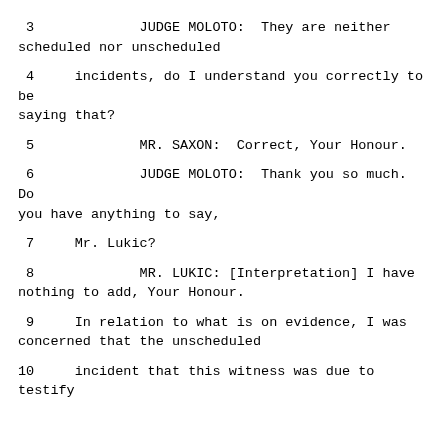3         JUDGE MOLOTO:  They are neither scheduled nor unscheduled
4     incidents, do I understand you correctly to be saying that?
5             MR. SAXON:  Correct, Your Honour.
6             JUDGE MOLOTO:  Thank you so much.  Do you have anything to say,
7     Mr. Lukic?
8             MR. LUKIC: [Interpretation] I have nothing to add, Your Honour.
9     In relation to what is on evidence, I was concerned that the unscheduled
10    incident that this witness was due to testify